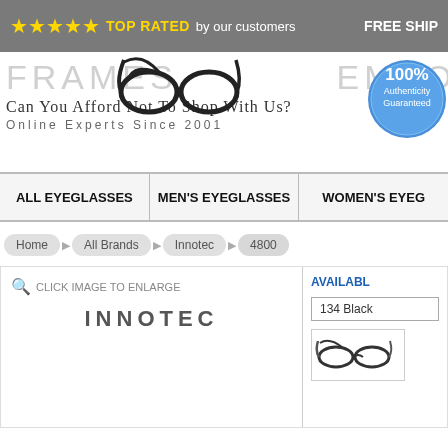★★★★★ TOP RATED by our customers   FREE SHIP
[Figure (logo): Frames Emporium logo with eyeglasses image and 100% Authenticity Guaranteed badge]
Can You Afford Not To Shop With Us?
Online Experts Since 2001
ALL EYEGLASSES | MEN'S EYEGLASSES | WOMEN'S EYEGLASSES
Home > All Brands > Innotec > 4800
INNOTEC
CLICK IMAGE TO ENLARGE
AVAILABLE
134 Black